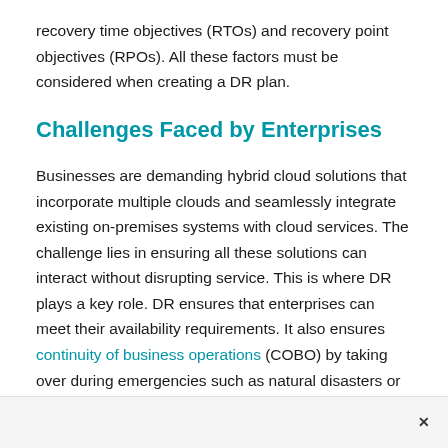recovery time objectives (RTOs) and recovery point objectives (RPOs). All these factors must be considered when creating a DR plan.
Challenges Faced by Enterprises
Businesses are demanding hybrid cloud solutions that incorporate multiple clouds and seamlessly integrate existing on-premises systems with cloud services. The challenge lies in ensuring all these solutions can interact without disrupting service. This is where DR plays a key role. DR ensures that enterprises can meet their availability requirements. It also ensures continuity of business operations (COBO) by taking over during emergencies such as natural disasters or equipment